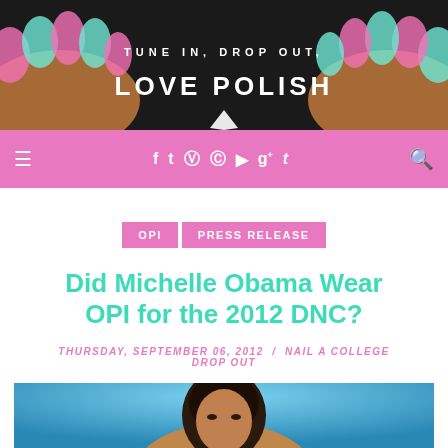[Figure (photo): Banner image showing decorated nails with pink and mint polish, text overlay reading TUNE IN, DROP OUT, LOVE POLISH on dark background]
≡  f  t  ☯  ●  ▶  g+  t  🔍
OPI  PRESS RELEASE
Did Michelle Obama Wear OPI for the 2012 DNC?
THURSDAY, SEPTEMBER 06, 2012 / NAIL A COLLEGE DROP OUT
[Figure (photo): Photo of Michelle Obama against blue background, showing her face and dark hair from approximately shoulders up]